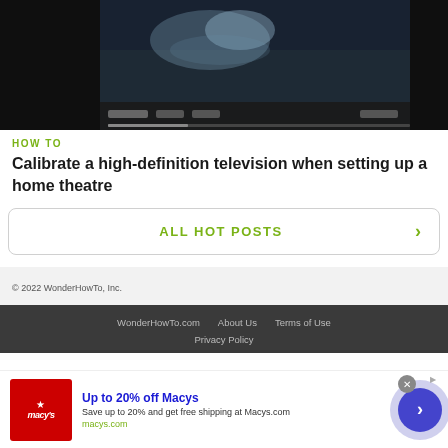[Figure (screenshot): Video thumbnail showing a dark home theatre setup with video player controls bar at the bottom]
HOW TO
Calibrate a high-definition television when setting up a home theatre
ALL HOT POSTS ›
© 2022 WonderHowTo, Inc.
WonderHowTo.com   About Us   Terms of Use   Privacy Policy
[Figure (infographic): Advertisement banner: Macys logo, Up to 20% off Macys, Save up to 20% and get free shipping at Macys.com, macys.com, with blue circular arrow button]